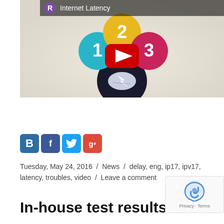[Figure (screenshot): YouTube video thumbnail for 'Internet Latency' showing numbered circles (1, 2, 3) connected to a dark circle with a lightning/spark effect. A YouTube play button is overlaid in the center. The video header shows a purple circle with 'R', the title 'Internet Latency', and a three-dot menu icon.]
[Figure (infographic): Row of four social media icon buttons: Bold/B (blue), Facebook f (dark blue), Twitter bird (light blue), Google+ g+ (red/orange)]
Tuesday, May 24, 2016 / News / delay, eng, ip17, ipv17, latency, troubles, video / Leave a comment
In-house test results